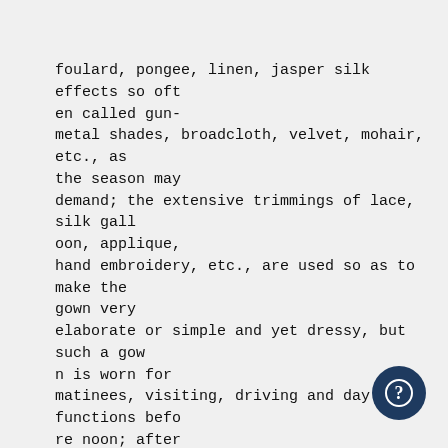foulard, pongee, linen, jasper silk effects so often called gun-metal shades, broadcloth, velvet, mohair, etc., as the season may demand; the extensive trimmings of lace, silk galloon, applique, hand embroidery, etc., are used so as to make the gown very elaborate or simple and yet dressy, but such a gown is worn for matinees, visiting, driving and day functions before noon; after that lighter colors and more trimming render the attire more ceremonious as the occasions after 12 m. prove to be.
An afternoon reception, dinner at a fashionable hotel, the theater, evening wedding, etc., demand a semi-ing costume which varies from a "real" lace